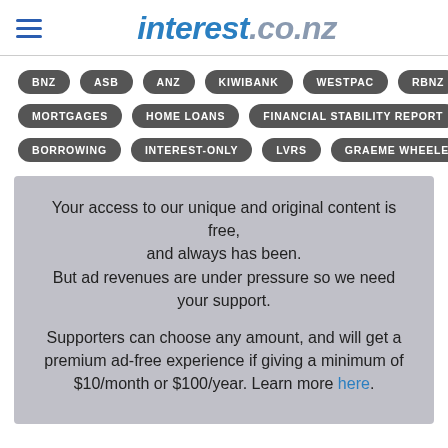interest.co.nz
BNZ
ASB
ANZ
KIWIBANK
WESTPAC
RBNZ
MORTGAGES
HOME LOANS
FINANCIAL STABILITY REPORT
BORROWING
INTEREST-ONLY
LVRS
GRAEME WHEELER
Your access to our unique and original content is free, and always has been. But ad revenues are under pressure so we need your support.

Supporters can choose any amount, and will get a premium ad-free experience if giving a minimum of $10/month or $100/year. Learn more here.